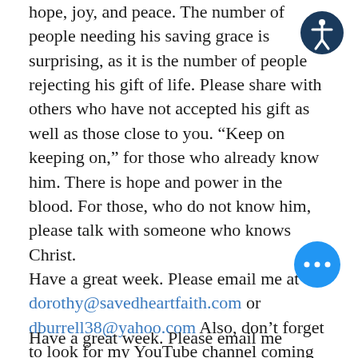hope, joy, and peace. The number of people needing his saving grace is surprising, as it is the number of people rejecting his gift of life. Please share with others who have not accepted his gift as well as those close to you. “Keep on keeping on,” for those who already know him. There is hope and power in the blood. For those, who do not know him, please talk with someone who knows Christ.
Have a great week. Please email me at dorothy@savedheartfaith.com or dburrell38@yahoo.com Also, don’t forget to look for my YouTube channel coming soon.
Have a great week. Please email me